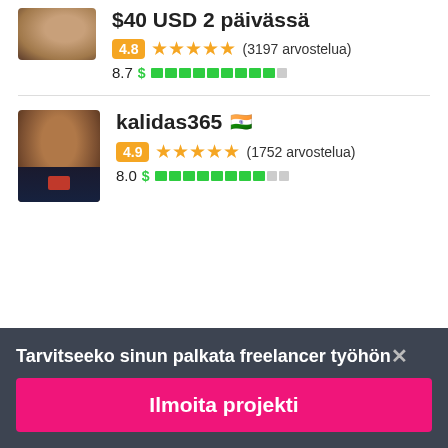$40 USD 2 päivässä
4.8 ★★★★★ (3197 arvostelua)
8.7 $ ██████████
kalidas365 🇮🇳
4.9 ★★★★★ (1752 arvostelua)
8.0 $ ████████
Tarvitseeko sinun palkata freelancer työhön✕
Ilmoita projekti